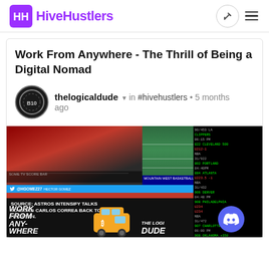HiveHustlers
Work From Anywhere - The Thrill of Being a Digital Nomad
thelogicaldude ▾ in #hivehustlers • 5 months ago
[Figure (screenshot): Collage image showing sports TV screens (basketball, football), a news ticker about Astros/Carlos Correa, sports betting odds board, and a 'Work From Anywhere' branded graphic with a cartoon van and The Logical Dude branding. A Discord button appears in the bottom right.]